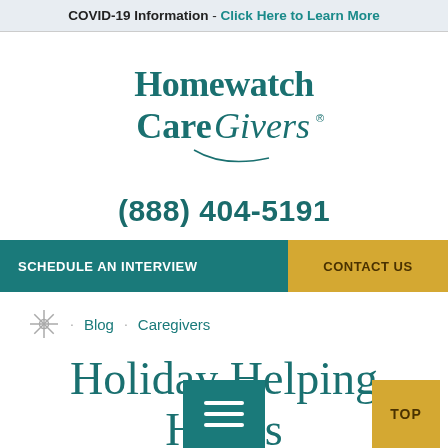COVID-19 Information - Click Here to Learn More
[Figure (logo): Homewatch CareGivers logo in teal serif font with stylized G]
(888) 404-5191
SCHEDULE AN INTERVIEW | CONTACT US
Blog · Caregivers
Holiday Helping Hands